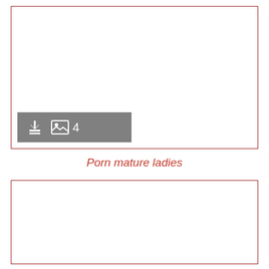[Figure (other): Large white image placeholder box with dark red border, containing a gray toolbar with download icon, image icon, and number 4]
Porn mature ladies
[Figure (other): Large white image placeholder box with dark red border]